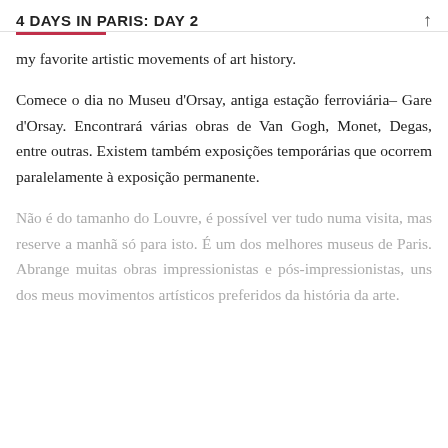4 DAYS IN PARIS: DAY 2
my favorite artistic movements of art history.
Comece o dia no Museu d'Orsay, antiga estação ferroviária– Gare d'Orsay. Encontrará várias obras de Van Gogh, Monet, Degas, entre outras. Existem também exposições temporárias que ocorrem paralelamente à exposição permanente.
Não é do tamanho do Louvre, é possível ver tudo numa visita, mas reserve a manhã só para isto. É um dos melhores museus de Paris. Abrange muitas obras impressionistas e pós-impressionistas, uns dos meus movimentos artísticos preferidos da história da arte.